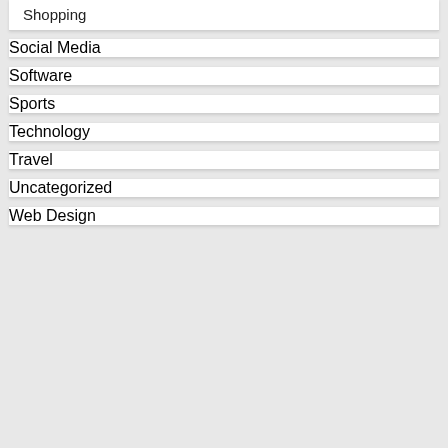Shopping
Social Media
Software
Sports
Technology
Travel
Uncategorized
Web Design